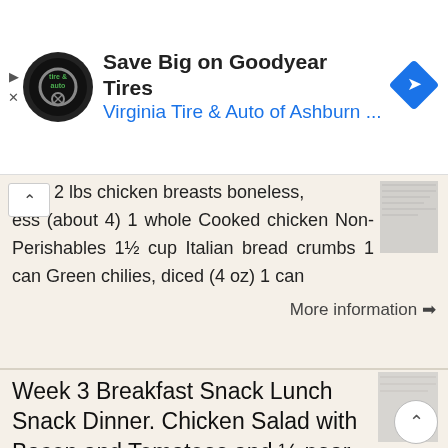[Figure (other): Advertisement banner: Virginia Tire & Auto logo, 'Save Big on Goodyear Tires' headline, 'Virginia Tire & Auto of Ashburn ...' subtitle in blue, navigation arrow icon]
2 lbs chicken breasts boneless, ess (about 4) 1 whole Cooked chicken Non-Perishables 1½ cup Italian bread crumbs 1 can Green chilies, diced (4 oz) 1 can
More information ⊙
Week 3 Breakfast Snack Lunch Snack Dinner. Chicken Salad with Bacon and Tomatoes and ½ pear and ¼ c shelled
Week 3 Breakfast Snack Lunch Snack Dinner Day 1 Kind Bar Day 2 Day 3 Kind Bar Day 4 Healthy Choice Simply Chicken and Vegetable Stir Fry 1 c grapes Salmon Pecan Cakes (in freezer from week one) with Mashed